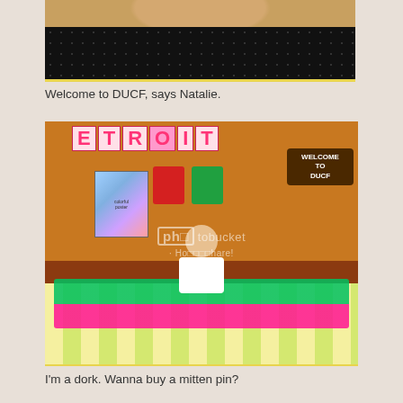[Figure (photo): Close-up photo of a woman's face from the chin up, wearing a black polka-dot outfit, mouth open, against a warm background. Bottom edge has a yellow border.]
Welcome to DUCF, says Natalie.
[Figure (photo): Woman with glasses sitting behind a craft fair table covered in colorful items (green and pink fabrics, pins). Behind her is an orange wall with a banner spelling DETROIT in pink letters, colorful tote bags (red and green), a colorful poster, and a speech-bubble sign reading WELCOME TO DUCF. A Photobucket watermark is visible.]
I'm a dork. Wanna buy a mitten pin?